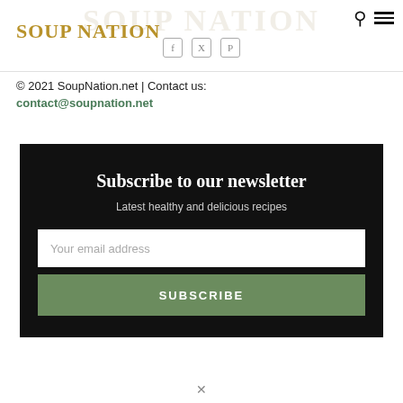SOUP NATION
© 2021 SoupNation.net | Contact us:
contact@soupnation.net
Subscribe to our newsletter
Latest healthy and delicious recipes
Your email address
SUBSCRIBE